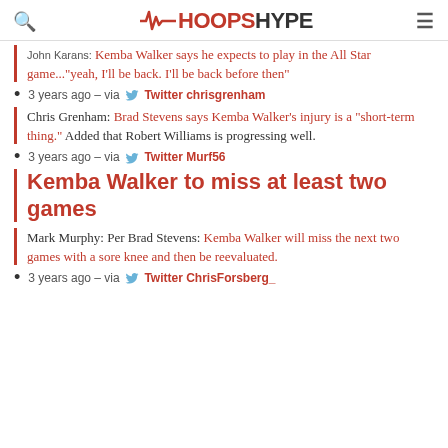HoopsHype
John Karans: Kemba Walker says he expects to play in the All Star game..."yeah, I'll be back. I'll be back before then"
3 years ago – via Twitter chrisgrenham
Chris Grenham: Brad Stevens says Kemba Walker's injury is a "short-term thing." Added that Robert Williams is progressing well.
3 years ago – via Twitter Murf56
Kemba Walker to miss at least two games
Mark Murphy: Per Brad Stevens: Kemba Walker will miss the next two games with a sore knee and then be reevaluated.
3 years ago – via Twitter ChrisForsberg_